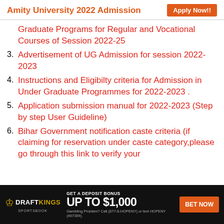Amity University 2022 Admission   Apply Now!!
Graduate Programs for Regular and Vocational Courses of Session 2022-25
3. Advertisement of UG Admission for session 2022-2023
4. Instructions and Eligibilty criteria for Admission in Under Graduate Programmes for 2022-2023 .
5. Application submission manual for 2022-2023 (Step by step User Guideline)
6. Bihar Government notification caste criteria (if claiming for reservation under caste category,please go through this link to verify your
[Figure (infographic): DraftKings Sportsbook advertisement banner: GET A DEPOSIT BONUS UP TO $1,000, BET NOW. Gambling Problem? Call (877-8-HOPENY) or text HOPENY (467369).]